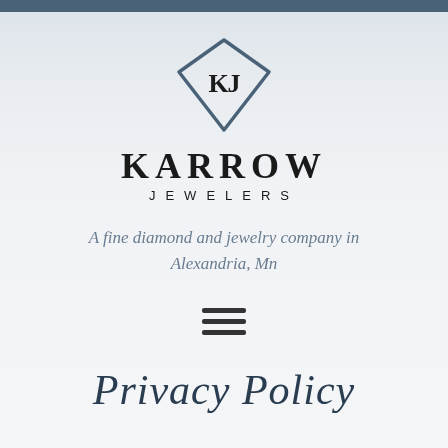[Figure (logo): Karrow Jewelers logo: diamond shape with KJ initials inside, followed by KARROW in large bold text and JEWELERS in spaced caps below]
A fine diamond and jewelry company in Alexandria, Mn
[Figure (other): Hamburger menu icon — three horizontal bars]
Privacy Policy